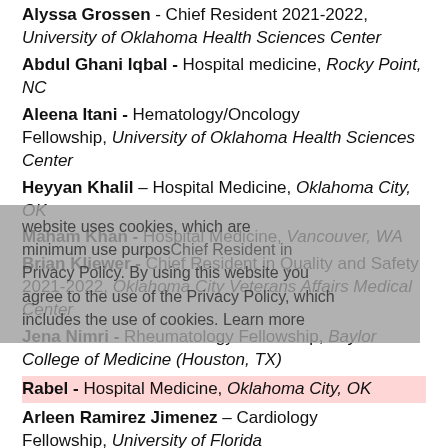Alyssa Grossen - Chief Resident 2021-2022, University of Oklahoma Health Sciences Center
Abdul Ghani Iqbal - Hospital medicine, Rocky Point, NC
Aleena Itani - Hematology/Oncology Fellowship, University of Oklahoma Health Sciences Center
Heyyan Khalil – Hospital Medicine, Oklahoma City, OK
Maham Khan - Hospital Medicine, Vancouver, WA
Brian Kliewer - Chief Resident in Quality and Safety 2021-2022, Oklahoma City Veterans Affairs Medical Center
Jena Nimri - Rheumatology Fellowship, Baylor College of Medicine (Houston, TX)
Rabel - Hospital Medicine, Oklahoma City, OK
Arleen Ramirez Jimenez – Cardiology Fellowship, University of Florida